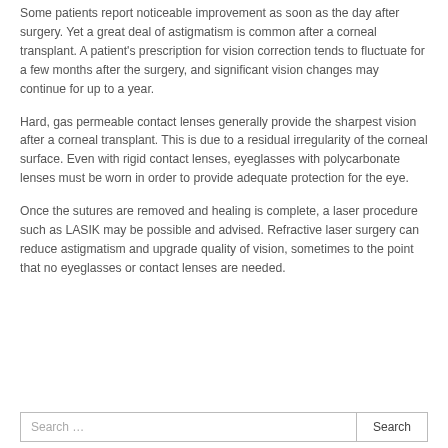Some patients report noticeable improvement as soon as the day after surgery. Yet a great deal of astigmatism is common after a corneal transplant. A patient's prescription for vision correction tends to fluctuate for a few months after the surgery, and significant vision changes may continue for up to a year.
Hard, gas permeable contact lenses generally provide the sharpest vision after a corneal transplant. This is due to a residual irregularity of the corneal surface. Even with rigid contact lenses, eyeglasses with polycarbonate lenses must be worn in order to provide adequate protection for the eye.
Once the sutures are removed and healing is complete, a laser procedure such as LASIK may be possible and advised. Refractive laser surgery can reduce astigmatism and upgrade quality of vision, sometimes to the point that no eyeglasses or contact lenses are needed.